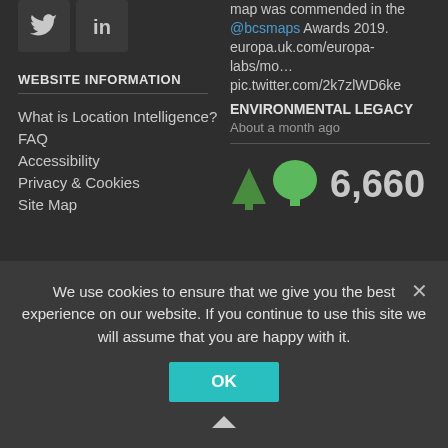[Figure (logo): Twitter bird icon in a dark box]
[Figure (logo): LinkedIn 'in' icon in a dark box]
WEBSITE INFORMATION
What is Location Intelligence?
FAQ
Accessibility
Privacy & Cookies
Site Map
map was commended in the @bcsmaps Awards 2019. europa.uk.com/europa-labs/mo… pic.twitter.com/2k7zlWD6ke
ENVIRONMENTAL LEGACY
About a month ago
[Figure (illustration): Two green tree icons (evergreen and deciduous) with count 6,660]
We use cookies to ensure that we give you the best experience on our website. If you continue to use this site we will assume that you are happy with it.
OK